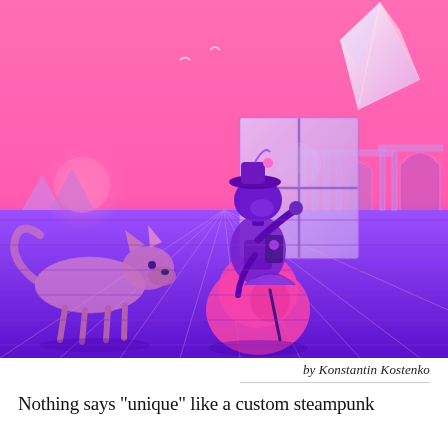[Figure (illustration): A steampunk-styled anthropomorphic figure in a Victorian dress and hat, holding an umbrella, standing beside a wolf/fox in a surreal pink and purple landscape with ancient ruins, a floating crystal/diamond shape in the upper right, and a window/door frame behind the figure. The color palette is vivid pink to deep purple gradient.]
by Konstantin Kostenko
Nothing says "unique" like a custom steampunk